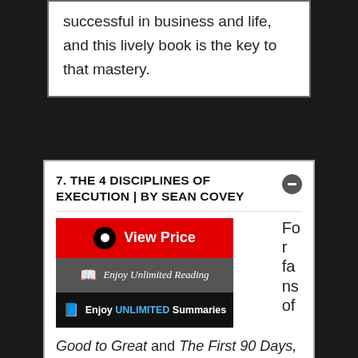successful in business and life, and this lively book is the key to that mastery.
7. THE 4 DISCIPLINES OF EXECUTION | BY SEAN COVEY
[Figure (screenshot): View Price button (red), Enjoy Unlimited Reading button (gray), Enjoy UNLIMITED Summaries button (black), with partial text 'Fo r fa ns of' visible on the right side]
Good to Great and The First 90 Days, The Four Disciplines of